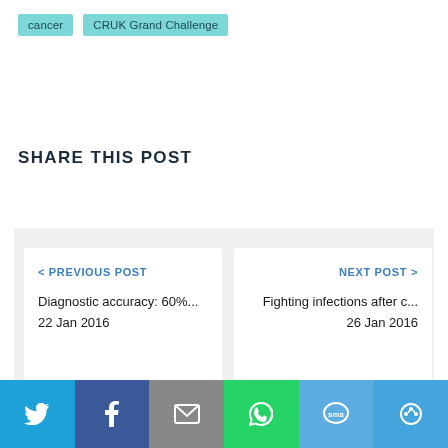cancer
CRUK Grand Challenge
SHARE THIS POST
< PREVIOUS POST
Diagnostic accuracy: 60%...
22 Jan 2016
NEXT POST >
Fighting infections after c...
26 Jan 2016
[Figure (infographic): Social sharing bar with icons for Twitter, Facebook, Email, WhatsApp, SMS, and a share icon]